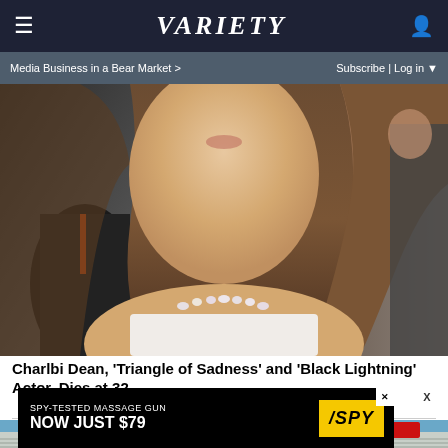VARIETY
Media Business in a Bear Market >
Subscribe | Log in
[Figure (photo): Close-up photo of Charlbi Dean at what appears to be a film festival event, wearing a diamond necklace and white dress, with photographers visible in background]
Charlbi Dean, 'Triangle of Sadness' and 'Black Lightning' Actor, Dies at 32
[Figure (photo): Outdoor scene showing a building with vinyl siding, blue sky, and a person in red clothing]
[Figure (other): Advertisement: SPY-TESTED MASSAGE GUN NOW JUST $79 with SPY logo in yellow]